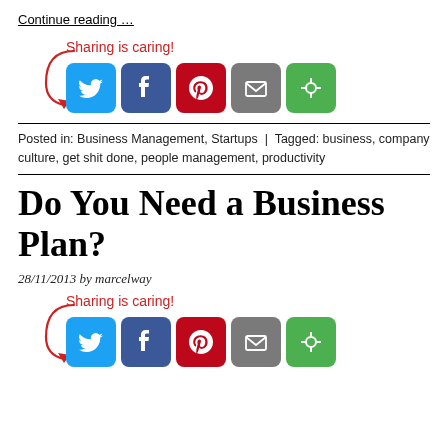Continue reading …
[Figure (infographic): Sharing is caring! social sharing buttons: Twitter, Facebook, Pinterest, Email, and another sharing icon]
Posted in: Business Management, Startups | Tagged: business, company culture, get shit done, people management, productivity
Do You Need a Business Plan?
28/11/2013 by marcelway
[Figure (infographic): Sharing is caring! social sharing buttons: Twitter, Facebook, Pinterest, Email, and another sharing icon]